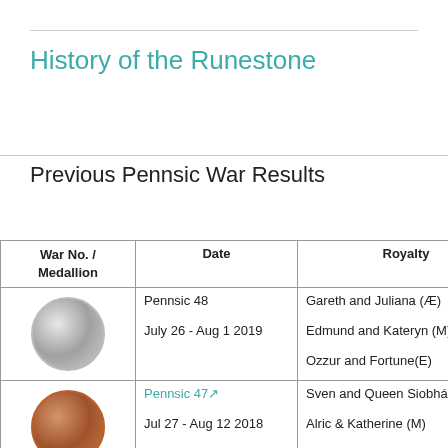History of the Runestone
Previous Pennsic War Results
| War No. / Medallion | Date | Royalty | Auto… |
| --- | --- | --- | --- |
| [medal image] | Pennsic 48
July 26 - Aug 1 2019 | Gareth and Juliana (Æ)
Edmund and Kateryn (M)
Ozzur and Fortune(E) | Mayc…
Dagr…
Halvc… |
| [medal image] | Pennsic 47
Jul 27 - Aug 12 2018 | Sven and Queen Siobhán (Æ)
Alric & Katherine (M)
Brennan & Caoilfhionn (E) | Mayc…
TH L…
Tom…
Valer… |